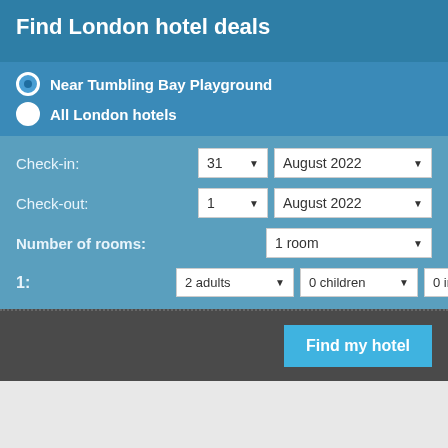Find London hotel deals
Near Tumbling Bay Playground
All London hotels
Check-in: 31 ▼  August 2022 ▼
Check-out: 1 ▼  August 2022 ▼
Number of rooms: 1 room ▼
1: 2 adults ▼  0 children ▼  0 infants ▼
Find my hotel
London Hotels